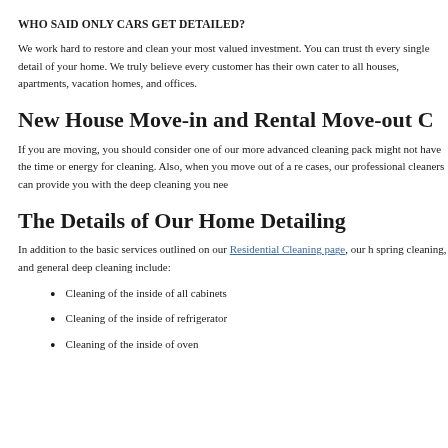WHO SAID ONLY CARS GET DETAILED?
We work hard to restore and clean your most valued investment. You can trust that every single detail of your home. We truly believe every customer has their own needs. We cater to all houses, apartments, vacation homes, and offices.
New House Move-in and Rental Move-out C
If you are moving, you should consider one of our more advanced cleaning packages, as you might not have the time or energy for cleaning. Also, when you move out of a rental, in most cases, our professional cleaners can provide you with the deep cleaning you need.
The Details of Our Home Detailing
In addition to the basic services outlined on our Residential Cleaning page, our home detailing, spring cleaning, and general deep cleaning include:
Cleaning of the inside of all cabinets
Cleaning of the inside of refrigerator
Cleaning of the inside of oven